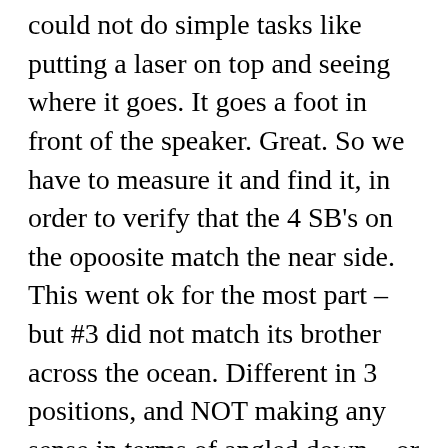could not do simple tasks like putting a laser on top and seeing where it goes. It goes a foot in front of the speaker. Great. So we have to measure it and find it, in order to verify that the 4 SB's on the opoosite match the near side. This went ok for the most part – but #3 did not match its brother across the ocean. Different in 3 positions, and NOT making any sense in terms of angled down – or to the left etc. The culprit as it turned out: folds in the curtain. All but #3 and 4 had no folds in front of them. #3 abd 6 did – and they did not match. Where is the interior designer when you need him!